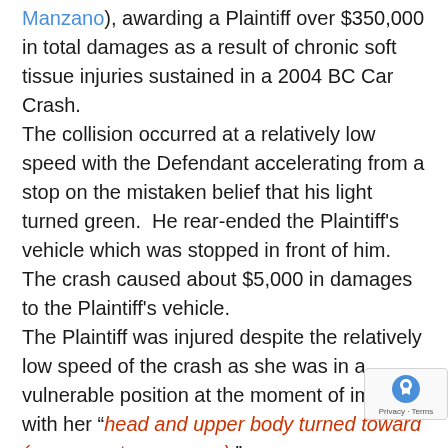Manzano), awarding a Plaintiff over $350,000 in total damages as a result of chronic soft tissue injuries sustained in a 2004 BC Car Crash. The collision occurred at a relatively low speed with the Defendant accelerating from a stop on the mistaken belief that his light turned green.  He rear-ended the Plaintiff's vehicle which was stopped in front of him.  The crash caused about $5,000 in damages to the Plaintiff's vehicle. The Plaintiff was injured despite the relatively low speed of the crash as she was in a vulnerable position at the moment of impact with her "head and upper body turned toward (a rear seat passenger)." The Plaintiff's GP gave evidence that she suffered from a 'chronic myofacial pain in the upper lumbar area' as a result of this crash and that she went on to